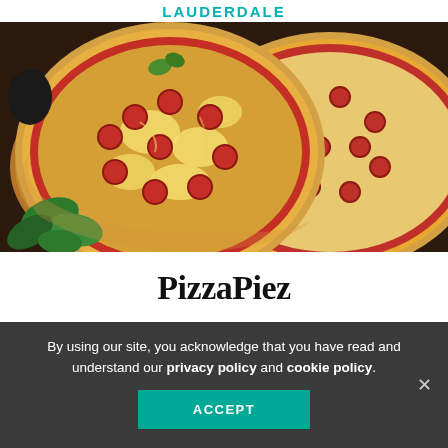LAUDERDALE
[Figure (photo): Close-up photo of two pepperoni pizzas on a wooden cutting board, with fresh basil leaves in the foreground and background]
PizzaPiez
By using our site, you acknowledge that you have read and understand our privacy policy and cookie policy.
ACCEPT